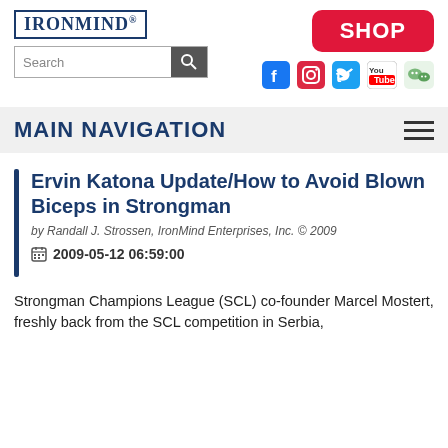[Figure (logo): IronMind logo in blue bordered box]
[Figure (logo): SHOP button in red]
[Figure (infographic): Social media icons: Facebook, Instagram, Twitter, YouTube, WeChat]
MAIN NAVIGATION
Ervin Katona Update/How to Avoid Blown Biceps in Strongman
by Randall J. Strossen, IronMind Enterprises, Inc. © 2009
2009-05-12 06:59:00
Strongman Champions League (SCL) co-founder Marcel Mostert, freshly back from the SCL competition in Serbia, filed this report on Ervin Katona's biceps and how to avoid blown biceps in strongman.